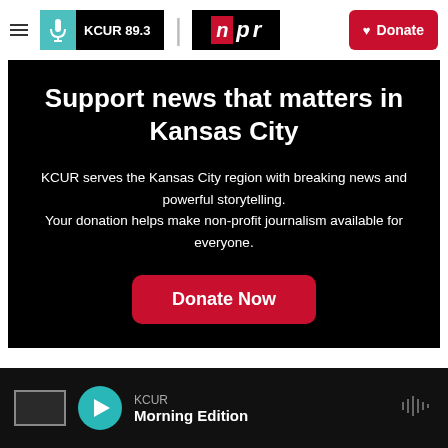KCUR 89.3 | npr ♥ Donate
Support news that matters in Kansas City
KCUR serves the Kansas City region with breaking news and powerful storytelling. Your donation helps make non-profit journalism available for everyone.
Donate Now
KCUR Morning Edition